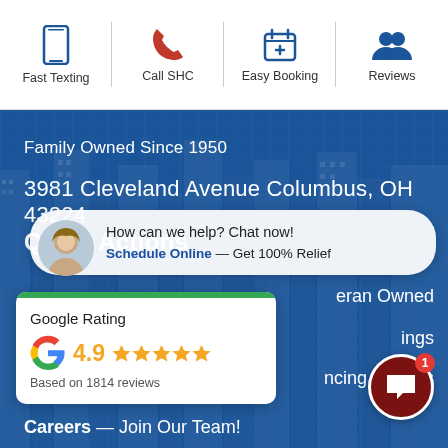[Figure (infographic): Top navigation bar with four icons: Fast Texting (phone icon), Call SHC (red phone icon), Easy Booking (calendar icon), Reviews (people icon), separated by vertical dividers]
[Figure (screenshot): Hero section with blue overlay on city building background. Text: 'Family Owned Since 1950', address '3981 Cleveland Avenue Columbus, OH 43224', Quick Actions label, chat bubble 'How can we help? Chat now!' with Schedule Online — Get 100% Relief, Google Rating card showing 4.9 stars based on 1814 reviews, partial text 'eran Owned', 'ings', 'ncing Options', 'Careers — Join Our Team!', SMS button with badge '1']